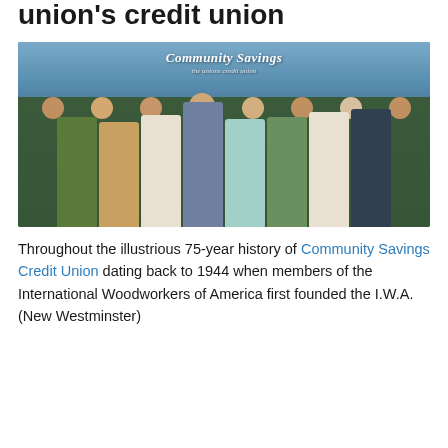union's credit union
[Figure (photo): Group photo of approximately 8 people standing in front of a Community Savings mural wall that reads 'Community Savings the unions credit union'. The mural features artistic depictions of workers and nature scenes. The photo appears to be taken inside a credit union branch.]
Throughout the illustrious 75-year history of Community Savings Credit Union dating back to 1944 when members of the International Woodworkers of America first founded the I.W.A. (New Westminster)